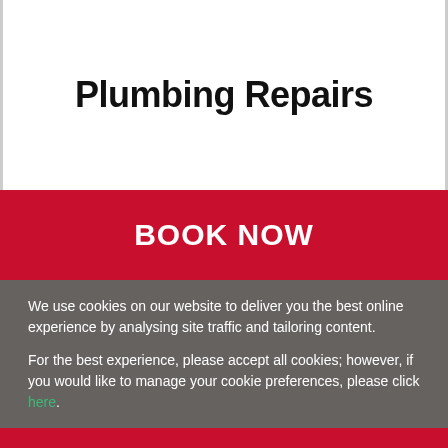Plumbing Repairs
BOOK NOW
We use cookies on our website to deliver you the best online experience by analysing site traffic and tailoring content.
For the best experience, please accept all cookies; however, if you would like to manage your cookie preferences, please click here.
Call Us Now - 24/7
01922 460862